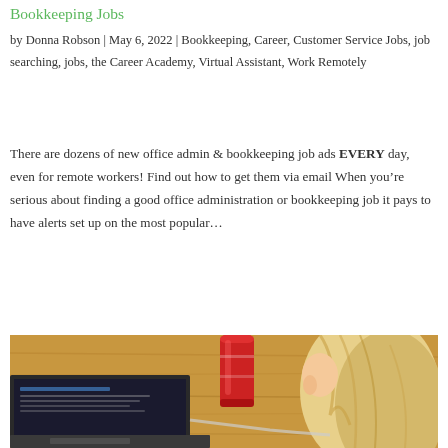Bookkeeping Jobs
by Donna Robson | May 6, 2022 | Bookkeeping, Career, Customer Service Jobs, job searching, jobs, the Career Academy, Virtual Assistant, Work Remotely
There are dozens of new office admin & bookkeeping job ads EVERY day, even for remote workers! Find out how to get them via email When you’re serious about finding a good office administration or bookkeeping job it pays to have alerts set up on the most popular…
[Figure (photo): A woman with blonde hair sitting at a wooden desk with a laptop and a red can, working remotely.]